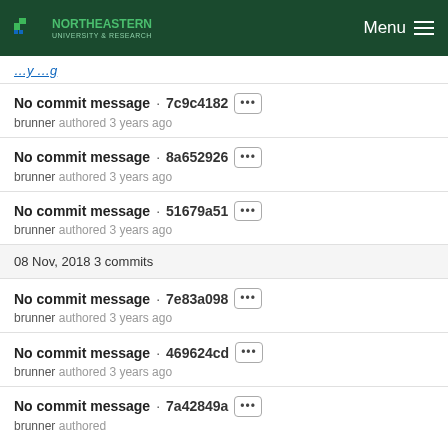Northeastern University & Research — Menu
…y …g (truncated link)
No commit message · 7c9c4182 ••• brunner authored 3 years ago
No commit message · 8a652926 ••• brunner authored 3 years ago
No commit message · 51679a51 ••• brunner authored 3 years ago
08 Nov, 2018 3 commits
No commit message · 7e83a098 ••• brunner authored 3 years ago
No commit message · 469624cd ••• brunner authored 3 years ago
No commit message · 7a42849a ••• brunner authored 3 years ago